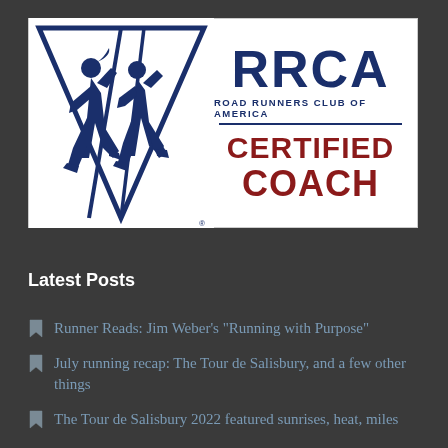[Figure (logo): RRCA Road Runners Club of America Certified Coach logo with two running silhouettes on a blue triangle background and the text RRCA, Road Runners Club of America, Certified Coach]
Latest Posts
Runner Reads: Jim Weber's "Running with Purpose"
July running recap: The Tour de Salisbury, and a few other things
The Tour de Salisbury 2022 featured sunrises, heat, miles